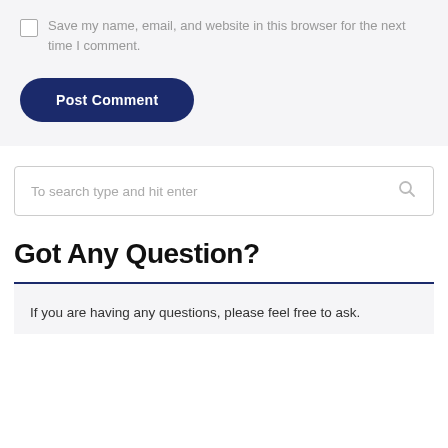Save my name, email, and website in this browser for the next time I comment.
Post Comment
To search type and hit enter
Got Any Question?
If you are having any questions, please feel free to ask.